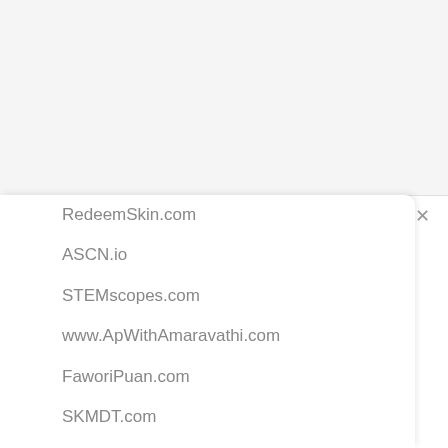RedeemSkin.com
ASCN.io
STEMscopes.com
www.ApWithAmaravathi.com
FaworiPuan.com
SKMDT.com
Smart.Accentuates.co.id
www.AppZilla.vip
Matkaindia.net